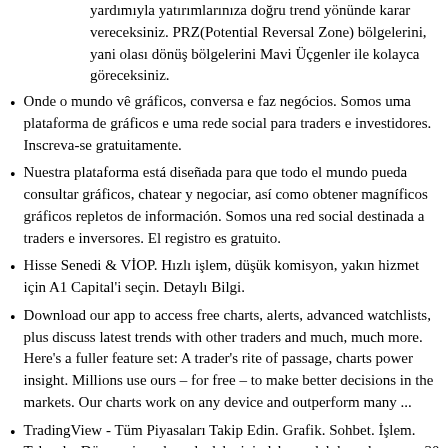yardımıyla yatırımlarınıza doğru trend yönünde karar vereceksiniz. PRZ(Potential Reversal Zone) bölgelerini, yani olası dönüş bölgelerini Mavi Üçgenler ile kolayca göreceksiniz.
Onde o mundo vê gráficos, conversa e faz negócios. Somos uma plataforma de gráficos e uma rede social para traders e investidores. Inscreva-se gratuitamente.
Nuestra plataforma está diseñada para que todo el mundo pueda consultar gráficos, chatear y negociar, así como obtener magníficos gráficos repletos de información. Somos una red social destinada a traders e inversores. El registro es gratuito.
Hisse Senedi & VİOP. Hızlı işlem, düşük komisyon, yakın hizmet için A1 Capital'i seçin. Detaylı Bilgi.
Download our app to access free charts, alerts, advanced watchlists, plus discuss latest trends with other traders and much, much more. Here's a fuller feature set: A trader's rite of passage, charts power insight. Millions use ours – for free – to make better decisions in the markets. Our charts work on any device and outperform many ...
TradingView - Tüm Piyasaları Takip Edin. Grafik. Sohbet. İşlem. Tekrarla. Dünya piyasalarında daha iyi, daha parlak kararlar veren 30 milyon işlem yapan bireye ve yatırımcıya katılın. Özellikleri keşfet.
Là où le monde fait des graphiques, discute et trade les